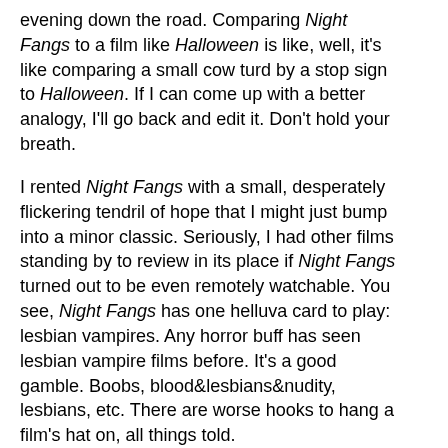evening down the road. Comparing Night Fangs to a film like Halloween is like, well, it's like comparing a small cow turd by a stop sign to Halloween. If I can come up with a better analogy, I'll go back and edit it. Don't hold your breath.
I rented Night Fangs with a small, desperately flickering tendril of hope that I might just bump into a minor classic. Seriously, I had other films standing by to review in its place if Night Fangs turned out to be even remotely watchable. You see, Night Fangs has one helluva card to play: lesbian vampires. Any horror buff has seen lesbian vampire films before. It's a good gamble. Boobs, blood&lesbians&nudity, lesbians, etc. There are worse hooks to hang a film's hat on, all things told.
[Figure (photo): Dark film still showing two female characters close together, likely a scene from Night Fangs]
The two main characters in Night Fangs are lesbian art teachers. I live in